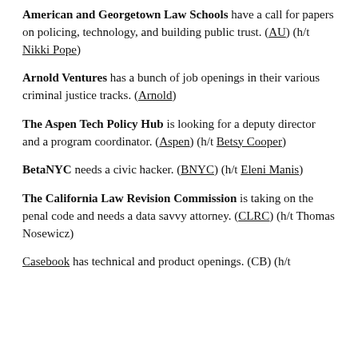American and Georgetown Law Schools have a call for papers on policing, technology, and building public trust. (AU) (h/t Nikki Pope)
Arnold Ventures has a bunch of job openings in their various criminal justice tracks. (Arnold)
The Aspen Tech Policy Hub is looking for a deputy director and a program coordinator. (Aspen) (h/t Betsy Cooper)
BetaNYC needs a civic hacker. (BNYC) (h/t Eleni Manis)
The California Law Revision Commission is taking on the penal code and needs a data savvy attorney. (CLRC) (h/t Thomas Nosewicz)
Casebook has technical and product openings. (CB) (h/t